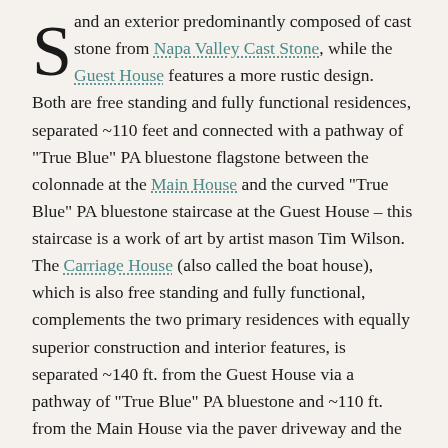and an exterior predominantly composed of cast stone from Napa Valley Cast Stone, while the Guest House features a more rustic design. Both are free standing and fully functional residences, separated ~110 feet and connected with a pathway of "True Blue" PA bluestone flagstone between the colonnade at the Main House and the curved "True Blue" PA bluestone staircase at the Guest House – this staircase is a work of art by artist mason Tim Wilson. The Carriage House (also called the boat house), which is also free standing and fully functional, complements the two primary residences with equally superior construction and interior features, is separated ~140 ft. from the Guest House via a pathway of "True Blue" PA bluestone and ~110 ft. from the Main House via the paver driveway and the cast stone paver main entrance. The Victorian authentic English Greenhouse (designed and manufactured by Hartley